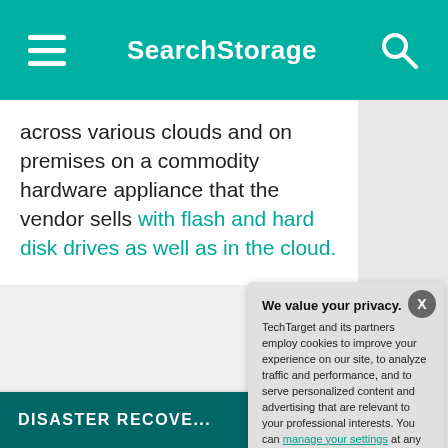SearchStorage
across various clouds and on premises on a commodity hardware appliance that the vendor sells with flash and hard disk drives as well as in the cloud.
-ADS BY GOOGLE
DISASTER RECOVE...
We value your privacy. TechTarget and its partners employ cookies to improve your experience on our site, to analyze traffic and performance, and to serve personalized content and advertising that are relevant to your professional interests. You can manage your settings at any time. Please view our Privacy Policy for more information